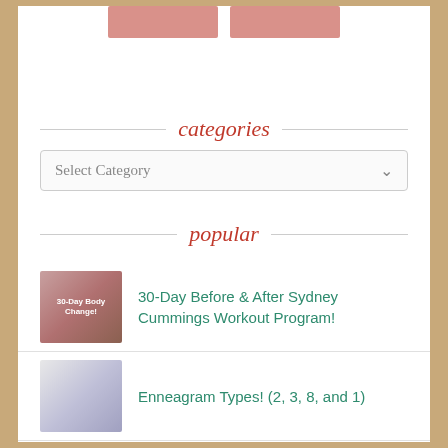[Figure (photo): Two product images partially visible at top of page]
categories
[Figure (screenshot): Select Category dropdown box]
popular
30-Day Before & After Sydney Cummings Workout Program!
Enneagram Types! (2, 3, 8, and 1)
Skinny Noodles Review
NuPasta Review! {Odorless, Low Calorie